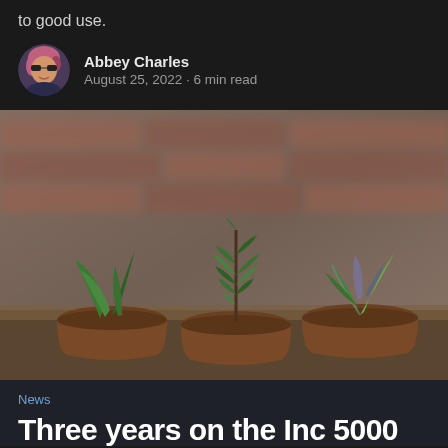to good use.
Abbey Charles
August 25, 2022 · 6 min read
[Figure (photo): Three small plants growing in brown peat pots against a blurred brick wall background]
News
Three years on the Inc 5000